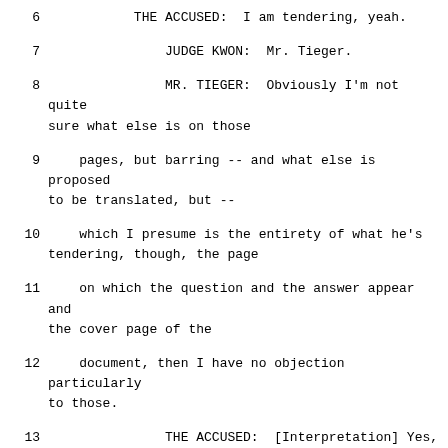6    THE ACCUSED:  I am tendering, yeah.
7              JUDGE KWON:  Mr. Tieger.
8              MR. TIEGER:  Obviously I'm not quite sure what else is on those
9    pages, but barring -- and what else is proposed to be translated, but --
10    which I presume is the entirety of what he's tendering, though, the page
11    on which the question and the answer appear and the cover page of the
12    document, then I have no objection particularly to those.
13              THE ACCUSED:  [Interpretation] Yes,